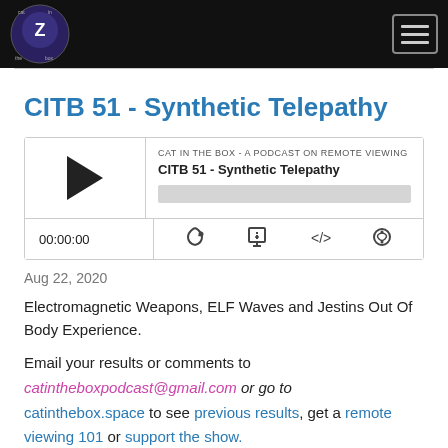Cat in the Box - A Podcast on Remote Viewing (navigation bar with logo and hamburger menu)
CITB 51 - Synthetic Telepathy
[Figure (other): Podcast audio player widget showing episode 'CITB 51 - Synthetic Telepathy' from 'CAT IN THE BOX - A PODCAST ON REMOTE VIEWING', with play button, progress bar, timestamp 00:00:00, and controls for subscribe, download, embed, and share.]
Aug 22, 2020
Electromagnetic Weapons, ELF Waves and Jestins Out Of Body Experience.
Email your results or comments to catintheboxpodcast@gmail.com or go to catinthebox.space to see previous results, get a remote viewing 101 or support the show.